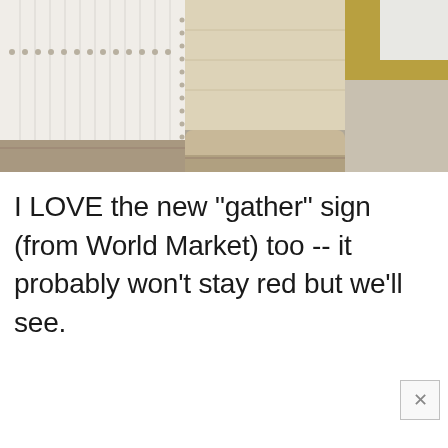[Figure (photo): Interior photo showing a white upholstered headboard or panel with nailhead trim detail, a light wood table or furniture piece, and a wooden floor in the background with a glimpse of yellow/gold fabric.]
I LOVE the new "gather" sign (from World Market) too -- it probably won't stay red but we'll see.